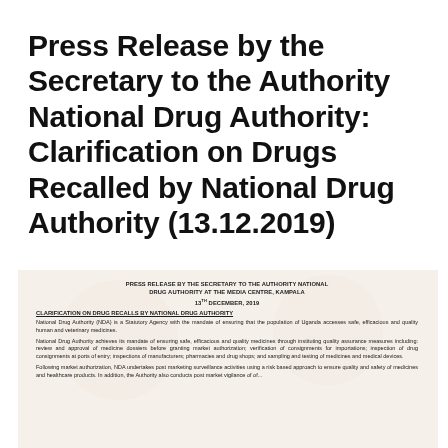Press Release by the Secretary to the Authority National Drug Authority: Clarification on Drugs Recalled by National Drug Authority (13.12.2019)
[Figure (screenshot): Scanned document image showing a press release by the Secretary to the Authority National Drug Authority at the Media Centre, Kampala, dated 13th December 2019. Contains section titled 'CLARIFICATION ON DRUG RECALLS BY NATIONAL DRUG AUTHORITY' with body text about National Drug Authority (NDA) as a Statutory Agency and its mandate.]